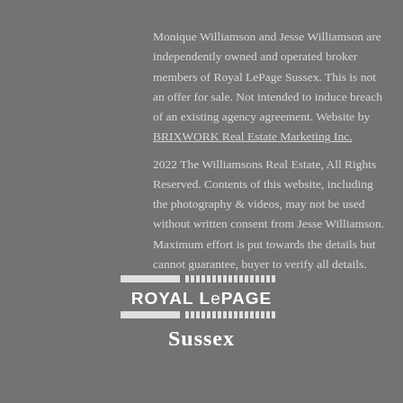Monique Williamson and Jesse Williamson are independently owned and operated broker members of Royal LePage Sussex. This is not an offer for sale. Not intended to induce breach of an existing agency agreement. Website by BRIXWORK Real Estate Marketing Inc.
2022 The Williamsons Real Estate, All Rights Reserved. Contents of this website, including the photography & videos, may not be used without written consent from Jesse Williamson. Maximum effort is put towards the details but cannot guarantee, buyer to verify all details.
[Figure (logo): Royal LePage Sussex logo with horizontal bar and striped bar elements above and below the text ROYAL LePAGE, and Sussex in italic below]